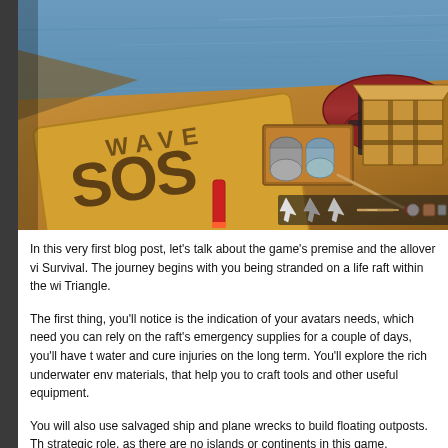[Figure (photo): A 3D rendered scene showing the interior of an inflatable life raft on water. The raft has orange/tan floor, red inflated sides, and contains survival supplies including cans, boxes, flares, arrows/spears, and a yellow board with 'SOS WAVE' text stamped on it. Ocean water is visible in the background.]
In this very first blog post, let's talk about the game's premise and the allover vi Survival. The journey begins with you being stranded on a life raft within the wi Triangle.
The first thing, you'll notice is the indication of your avatars needs, which need you can rely on the raft's emergency supplies for a couple of days, you'll have t water and cure injuries on the long term. You'll explore the rich underwater env materials, that help you to craft tools and other useful equipment.
You will also use salvaged ship and plane wrecks to build floating outposts. Th strategic role, as there are no islands or continents in this game.